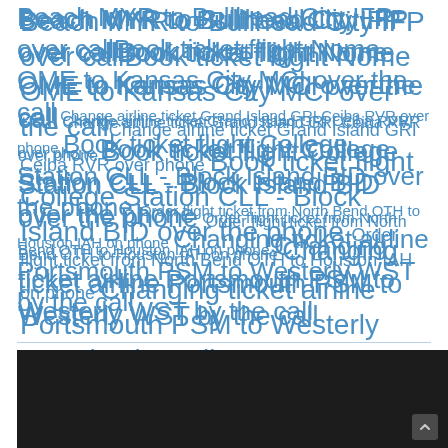Beach MYR to Bullhead City IFP over call Book ticket flight Nome OME to Kansas City MCI over the call Change airline ticket Grand Island GRI Ceiba RVR over phone Book ticket flight College Station CLL - Block Island BID over the phone Order flight ticket from North Bend OTH to Houston IAH on phone Changing ticket airline Portsmouth PSM to Westerly WST by the call
[Figure (screenshot): Dark/black background image at the bottom of the page with a scroll-to-top arrow icon in the lower right corner]